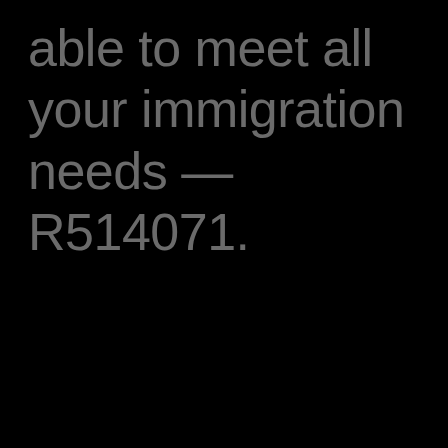able to meet all your immigration needs — R514071.